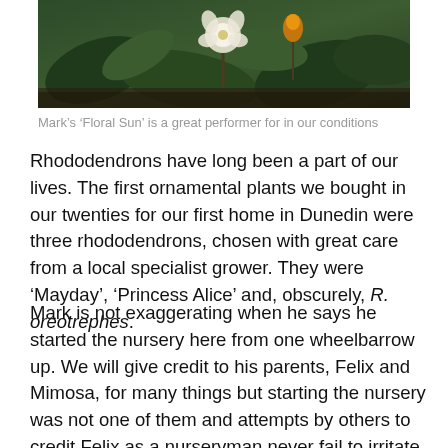[Figure (photo): Close-up photograph of rhododendron plants with green leaves and flowers including white and orange blooms]
Mark's ‘Floral Sun’ is a great performer for in our conditions
Rhododendrons have long been a part of our lives. The first ornamental plants we bought in our twenties for our first home in Dunedin were three rhododendrons, chosen with great care from a local specialist grower. They were ‘Mayday’, ‘Princess Alice’ and, obscurely, R. oreotrephes.
Mark is not exaggerating when he says he started the nursery here from one wheelbarrow up. We will give credit to his parents, Felix and Mimosa, for many things but starting the nursery was not one of them and attempts by others to credit Felix as a nurseryman never fail to irritate. The first mail order list we ever posted out in 1982 comprised fifteen rhododendrons and Magnolia Iolanthe